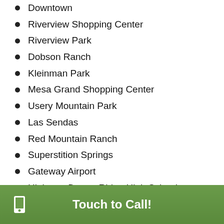Downtown
Riverview Shopping Center
Riverview Park
Dobson Ranch
Kleinman Park
Mesa Grand Shopping Center
Usery Mountain Park
Las Sendas
Red Mountain Ranch
Superstition Springs
Gateway Airport
Higley or Desert Ridge High Schools
Skyline or Mountain View High Schools
Dobson or Mesa High Schools
Touch to Call!